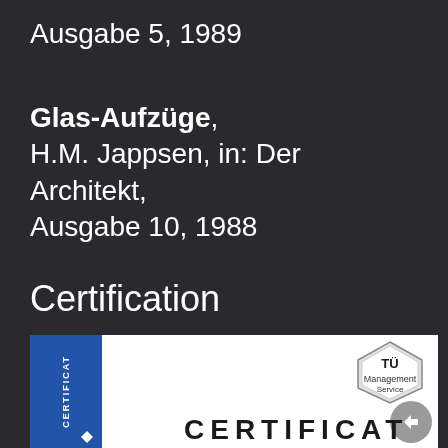Ausgabe 5, 1989
Glas-Aufzüge, H.M. Jappsen, in: Der Architekt, Ausgabe 10, 1988
Certification
[Figure (other): Certificate document image showing a blue vertical bar on the left with 'CERTIFICAT' text rotated vertically, a TÜV Management Service logo in the top right corner, a diamond bullet at the bottom left of the blue bar, and large bold text 'CERTIFICAT' at the bottom of the white area.]